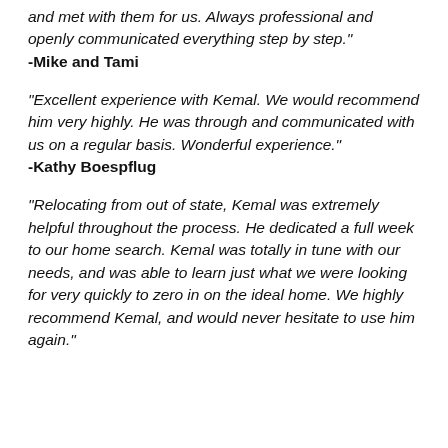and met with them for us. Always professional and openly communicated everything step by step."
-Mike and Tami
"Excellent experience with Kemal. We would recommend him very highly. He was through and communicated with us on a regular basis. Wonderful experience."
-Kathy Boespflug
"Relocating from out of state, Kemal was extremely helpful throughout the process. He dedicated a full week to our home search. Kemal was totally in tune with our needs, and was able to learn just what we were looking for very quickly to zero in on the ideal home. We highly recommend Kemal, and would never hesitate to use him again."